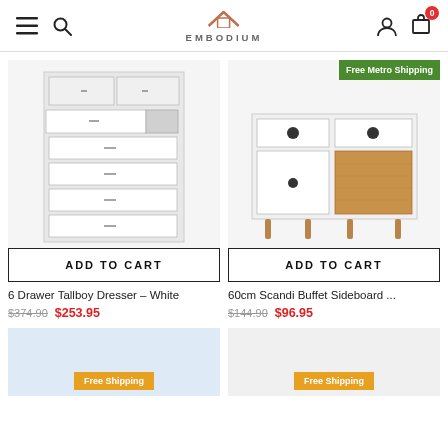EMBODIUM — navigation header with menu, search, account, cart (0)
[Figure (photo): 6 Drawer Tallboy Dresser in white with drawers open, product photo]
ADD TO CART
6 Drawer Tallboy Dresser – White
$374.90  $253.95
[Figure (photo): 60cm Scandi Buffet Sideboard in white and wood, product photo. Badge: Free Metro Shipping]
ADD TO CART
60cm Scandi Buffet Sideboard ...
$144.90  $96.95
[Figure (photo): Partial product image bottom left with Free Shipping badge]
[Figure (photo): Partial product image bottom right with Free Shipping badge]